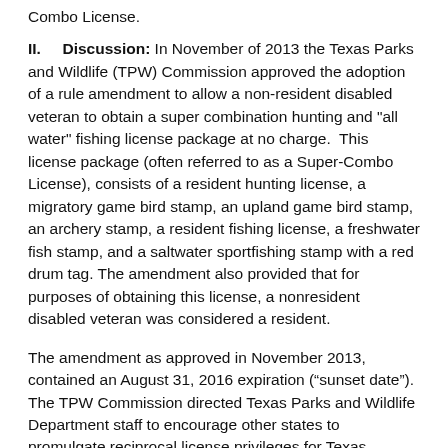Combo License.
II. Discussion: In November of 2013 the Texas Parks and Wildlife (TPW) Commission approved the adoption of a rule amendment to allow a non-resident disabled veteran to obtain a super combination hunting and "all water" fishing license package at no charge. This license package (often referred to as a Super-Combo License), consists of a resident hunting license, a migratory game bird stamp, an upland game bird stamp, an archery stamp, a resident fishing license, a freshwater fish stamp, and a saltwater sportfishing stamp with a red drum tag. The amendment also provided that for purposes of obtaining this license, a nonresident disabled veteran was considered a resident.
The amendment as approved in November 2013, contained an August 31, 2016 expiration (“sunset date”). The TPW Commission directed Texas Parks and Wildlife Department staff to encourage other states to promulgate reciprocal license privileges for Texas residents prior to the sunset